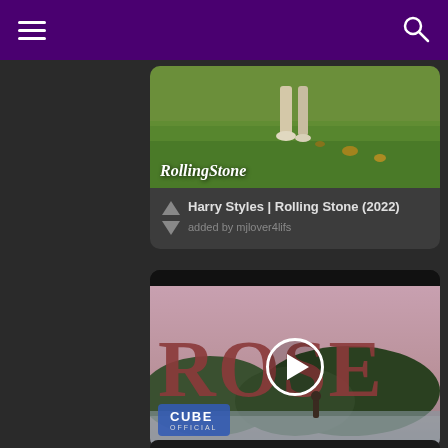Navigation bar with hamburger menu and search icon
[Figure (screenshot): Rolling Stone magazine article card showing grass/outdoor photo with Rolling Stone logo overlay, title 'Harry Styles | Rolling Stone (2022)', added by mjlover4lifs, with upvote/downvote arrows]
Harry Styles | Rolling Stone (2022)
added by mjlover4lifs
[Figure (screenshot): ROSE music video thumbnail with large serif text 'ROSE' overlaid on a landscape with mountains and lake, person standing in foreground, play button in center, CUBE OFFICIAL badge in bottom left]
[Figure (screenshot): Partial view of a third card at the bottom of the page]